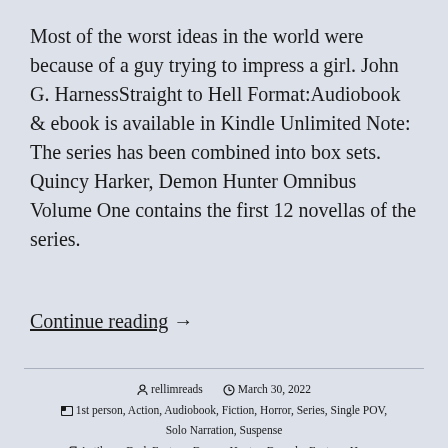Most of the worst ideas in the world were because of a guy trying to impress a girl. John G. HarnessStraight to Hell Format:Audiobook & ebook is available in Kindle Unlimited Note: The series has been combined into box sets. Quincy Harker, Demon Hunter Omnibus Volume One contains the first 12 novellas of the series.
Continue reading →
rellimreads   March 30, 2022   1st person, Action, Audiobook, Fiction, Horror, Series, Single POV, Solo Narration, Suspense   Antihero, Dark Fantasy, Demon Hunter, Dracula, Fantasy, Horror, James Anderson Foster, John G. Hartness, KU, Novella, Occult, Quincy Harker Demon Hunter (series), Suspense, Thriller, Urban Fantasy